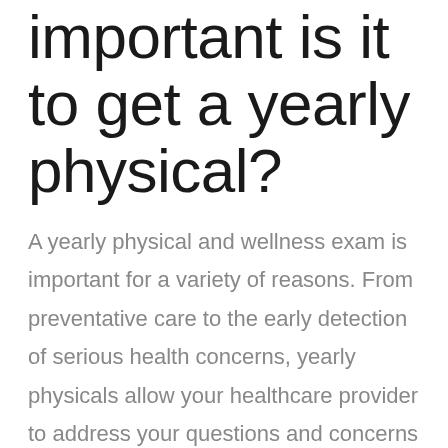important is it to get a yearly physical?
A yearly physical and wellness exam is important for a variety of reasons. From preventative care to the early detection of serious health concerns, yearly physicals allow your healthcare provider to address your questions and concerns while helping you reach your personal health and wellness goals. There